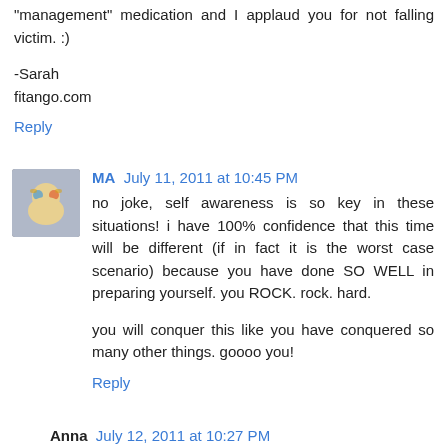"management" medication and I applaud you for not falling victim. :)
-Sarah
fitango.com
Reply
MA  July 11, 2011 at 10:45 PM
no joke, self awareness is so key in these situations! i have 100% confidence that this time will be different (if in fact it is the worst case scenario) because you have done SO WELL in preparing yourself. you ROCK. rock. hard.
you will conquer this like you have conquered so many other things. goooo you!
Reply
Anna  July 12, 2011 at 10:27 PM
I hope you feel better soon :)